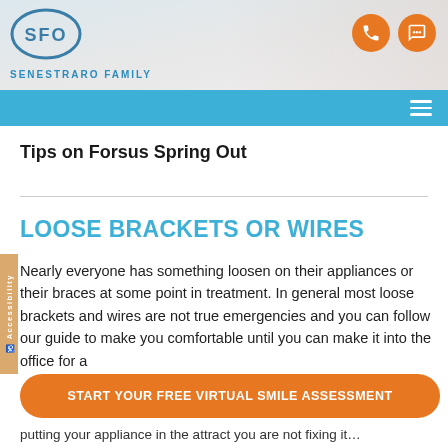[Figure (logo): SFO logo circle with text SENESTRARO FAMILY ORTHODONTICS]
Senestraro Family Orthodontics navigation bar with phone and chat icons
Tips on Forsus Spring Out
LOOSE BRACKETS OR WIRES
Nearly everyone has something loosen on their appliances or their braces at some point in treatment. In general most loose brackets and wires are not true emergencies and you can follow our guide to make you comfortable until you can make it into the office for a
START YOUR FREE VIRTUAL SMILE ASSESSMENT